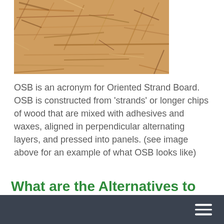[Figure (photo): Close-up photograph of OSB (Oriented Strand Board) showing compressed wood strands/chips in tan/orange tones]
OSB is an acronym for Oriented Strand Board. OSB is constructed from 'strands' or longer chips of wood that are mixed with adhesives and waxes, aligned in perpendicular alternating layers, and pressed into panels. (see image above for an example of what OSB looks like)
What are the Alternatives to OSB for Making Safe Broken Windows?